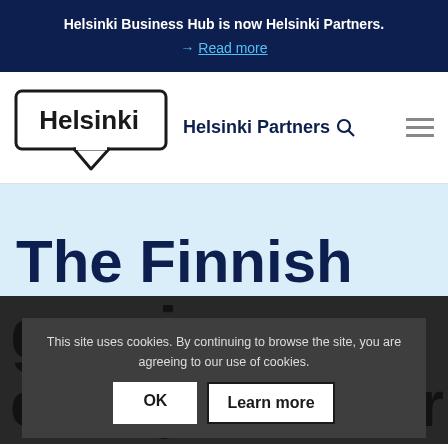Helsinki Business Hub is now Helsinki Partners.
→ Read more
[Figure (logo): Helsinki city logo — a speech bubble box with 'Helsinki' text inside]
Helsinki Partners
The Finnish
gaming
This site uses cookies. By continuing to browse the site, you are agreeing to our use of cookies.
ecosystem turns
limitations into